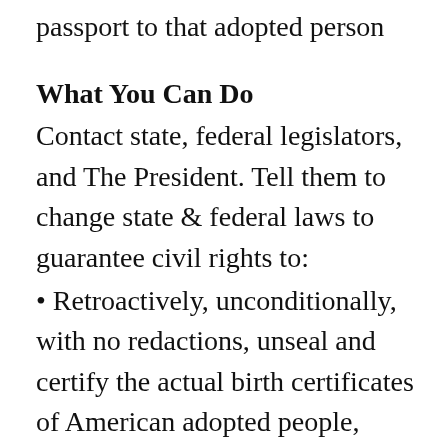passport to that adopted person
What You Can Do
Contact state, federal legislators, and The President. Tell them to change state & federal laws to guarantee civil rights to:
Retroactively, unconditionally, with no redactions, unseal and certify the actual birth certificates of American adopted people, restoring civil rights to own their actual birth